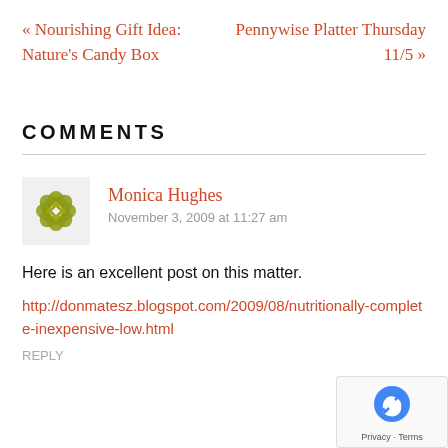« Nourishing Gift Idea: Nature's Candy Box
Pennywise Platter Thursday 11/5 »
COMMENTS
Monica Hughes
November 3, 2009 at 11:27 am
Here is an excellent post on this matter.
http://donmatesz.blogspot.com/2009/08/nutritionally-complete-inexpensive-low.html
REPLY